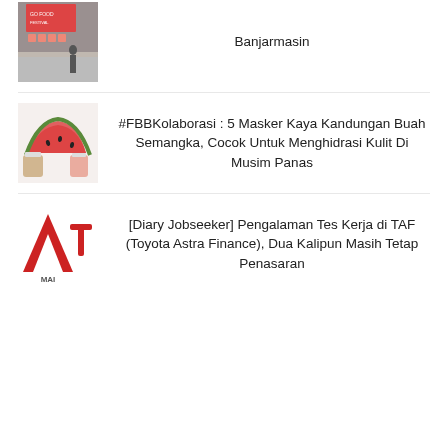Banjarmasin
#FBBKolaborasi : 5 Masker Kaya Kandungan Buah Semangka, Cocok Untuk Menghidrasi Kulit Di Musim Panas
[Diary Jobseeker] Pengalaman Tes Kerja di TAF (Toyota Astra Finance), Dua Kalipun Masih Tetap Penasaran